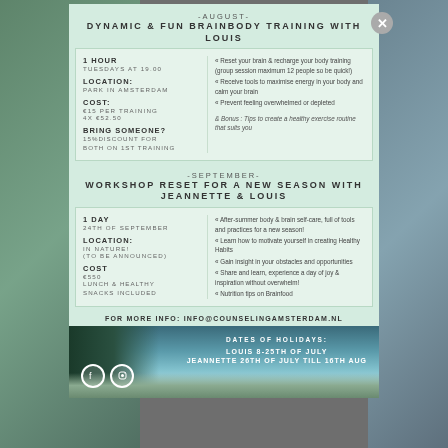-AUGUST- DYNAMIC & FUN BRAINBODY TRAINING WITH LOUIS
| Left | Right |
| --- | --- |
| 1 HOUR
TUESDAYS AT 19.00
LOCATION:
PARK IN AMSTERDAM
COST:
€15 PER TRAINING
4X €52.50
BRING SOMEONE?
15%DISCOUNT FOR BOTH ON 1ST TRAINING | « Reset your brain & recharge your body training (group session maximum 12 people so be quick!)
« Receive tools to maximise energy in your body and calm your brain
« Prevent feeling overwhelmed or depleted
& Bonus : Tips to create a healthy exercise routine that suits you |
-SEPTEMBER- WORKSHOP RESET FOR A NEW SEASON WITH JEANNETTE & LOUIS
| Left | Right |
| --- | --- |
| 1 DAY
24TH OF SEPTEMBER
LOCATION:
IN NATURE!
(TO BE ANNOUNCED)
COST
€550
LUNCH & HEALTHY SNACKS INCLUDED | « After-summer body & brain self-care, full of tools and practices for a new season!
« Learn how to motivate yourself in creating Healthy Habits
« Gain insight in your obstacles and opportunities
« Share and learn, experience a day of joy & inspiration without overwhelm!
« Nutrition tips on Brainfood |
FOR MORE INFO: INFO@COUNSELINGAMSTERDAM.NL
DATES OF HOLIDAYS:
LOUIS 8-25TH OF JULY
JEANNETTE 26TH OF JULY TILL 16TH AUG